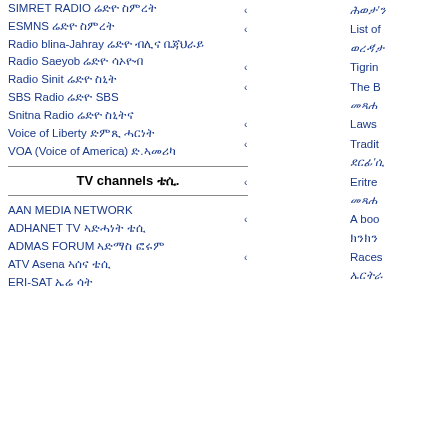SIMRET RADIO ሬድዮ ስምረት
ESMNS ሬድዮ ስምረት
Radio blina-Jahray ሬድዮ ብሊና ቤጃህራይ
Radio Saeyob ሬድዮ ሳኦዮብ
Radio Sinit ሬድዮ ስኒት
SBS Radio ሬድዮ SBS
Snitna Radio ሬድዮ ስኒትና
Voice of Liberty ድምጺ ሓርነት
VOA (Voice of America) ድ.ኣመሪካ
TV channels ቴሲ.
AAN MEDIA NETWORK
ADHANET TV ኣድሓነት ቴሲ
ADMAS FORUM ኣድማስ ፎሩም
ATV Asena ኣሰና ቴሲ
ERI-SAT ኤሬ ሳት
ሕወታ'ን
List of ወረዳ'ታ
Tigrinya
The B መጻሕ
Laws
Traditions ደርፊ'ሲ
Eritre መጻሕ
A book ክንክን
Races ኤርትራ